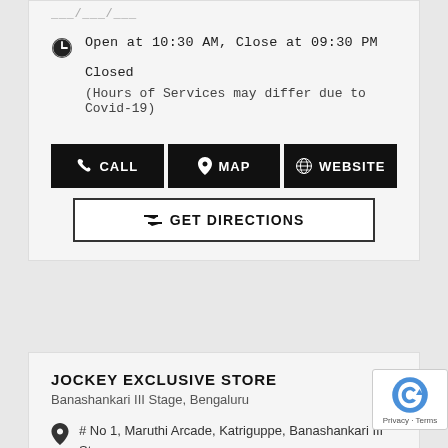Open at 10:30 AM, Close at 09:30 PM
Closed
(Hours of Services may differ due to Covid-19)
CALL
MAP
WEBSITE
GET DIRECTIONS
JOCKEY EXCLUSIVE STORE
Banashankari III Stage, Bengaluru
# No 1, Maruthi Arcade, Katriguppe, Banashankari III Stage, Bengaluru, Karnataka 560085